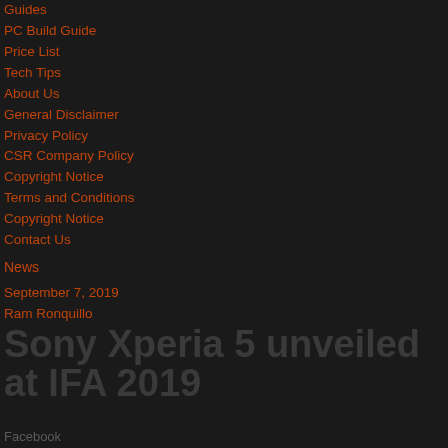Guides
PC Build Guide
Price List
Tech Tips
About Us
General Disclaimer
Privacy Policy
CSR Company Policy
Copyright Notice
Terms and Conditions
Copyright Notice
Contact Us
News
September 7, 2019
Ram Ronquillo
Sony Xperia 5 unveiled at IFA 2019
Facebook